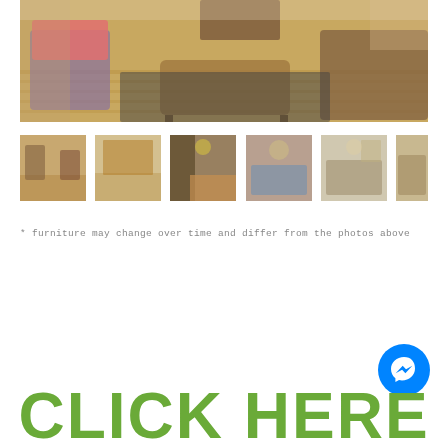[Figure (photo): Interior living room photo showing hardwood floors, sofas, a coffee table, and a pink blanket draped over a chair]
[Figure (photo): Row of 6 thumbnail photos showing various rooms of the property including living area, dining area, kitchen, bedroom, and other rooms]
* furniture may change over time and differ from the photos above
CLICK HERE